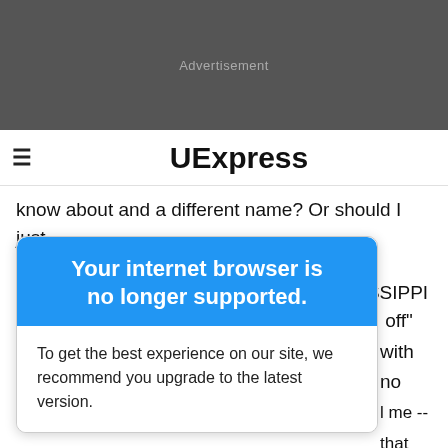[Figure (screenshot): Dark grey advertisement banner placeholder with 'Advertisement' label in grey text]
≡ UExpress
know about and a different name? Or should I just break it off now? -- INCOGNITO IN MISSISSIPPI
Your internet browser is no longer supported.
To get the best experience on our site, we recommend you upgrade to the latest version.
off" with no
l me -- that you
nline dating
l" about
turn-off
hi...